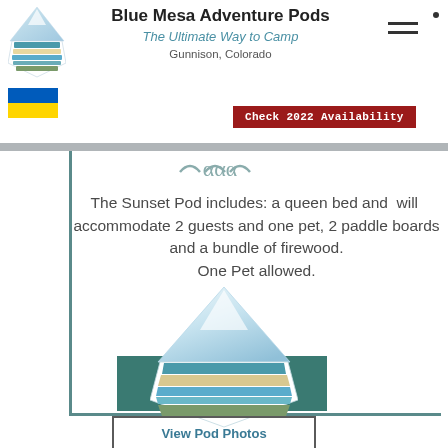Blue Mesa Adventure Pods
The Ultimate Way to Camp
Gunnison, Colorado
[Figure (logo): Blue Mesa Adventure Pods logo - triangular mountain/glacier shape above horizontal colored water/land bands in a pentagon shape]
[Figure (logo): Ukraine flag emoji]
Check 2022 Availability
[Figure (illustration): Decorative scroll/wave ornament]
The Sunset Pod includes: a queen bed and will accommodate 2 guests and one pet, 2 paddle boards and a bundle of firewood.
One Pet allowed.
RESERVE NOW
[Figure (logo): Blue Mesa Adventure Pods logo - larger version - triangular mountain/glacier above horizontal colored landscape bands]
View Pod Photos